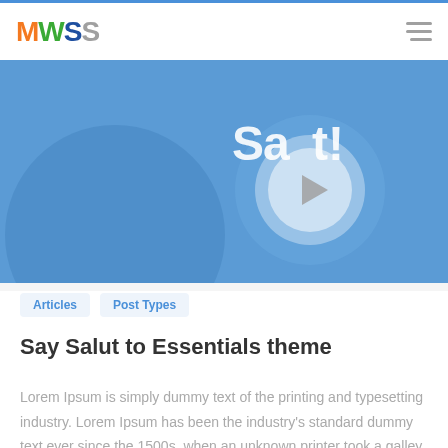MWSS
[Figure (screenshot): Hero banner with blue background showing 'Salut!' text with a play button circle and decorative circles]
Articles
Post Types
Say Salut to Essentials theme
Lorem Ipsum is simply dummy text of the printing and typesetting industry. Lorem Ipsum has been the industry's standard dummy text ever since the 1500s, when an unknown printer took a galley of type and scrambled it to make a type